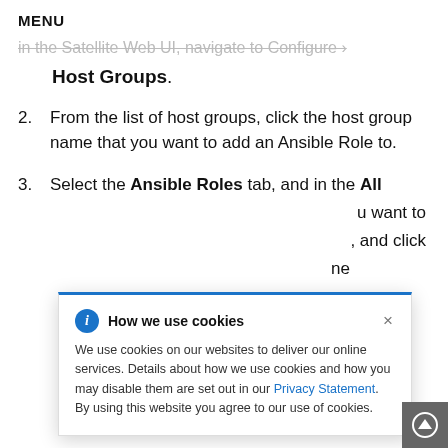MENU
… in the Satellite Web UI, navigate to Configure › Host Groups.
2. From the list of host groups, click the host group name that you want to add an Ansible Role to.
3. Select the Ansible Roles tab, and in the All … you want to … and click … ne
[Figure (infographic): Cookie consent popup overlay with blue top border, info icon, title 'How we use cookies', close button, and text explaining cookie use with a Privacy Statement link.]
How we use cookies — We use cookies on our websites to deliver our online services. Details about how we use cookies and how you may disable them are set out in our Privacy Statement. By using this website you agree to our use of cookies.